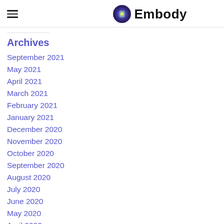Embody
Archives
September 2021
May 2021
April 2021
March 2021
February 2021
January 2021
December 2020
November 2020
October 2020
September 2020
August 2020
July 2020
June 2020
May 2020
April 2020
March 2020